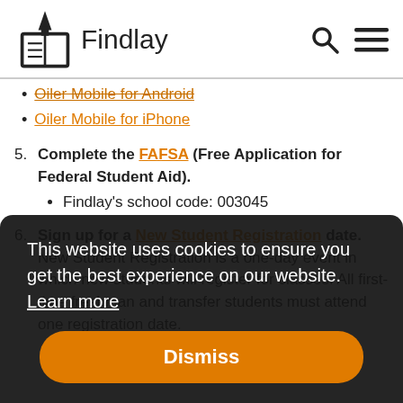Findlay
Oiler Mobile for Android (strikethrough link)
Oiler Mobile for iPhone
5. Complete the FAFSA (Free Application for Federal Student Aid).
  • Findlay's school code: 003045
6. Sign up for a New Student Registration date. New Student Registration is a one-day event in which new students will register for classes. All first-time freshman and transfer students must attend one registration date.
This website uses cookies to ensure you get the best experience on our website. Learn more
Dismiss